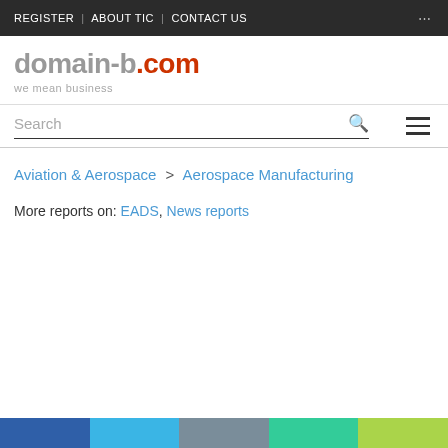REGISTER | ABOUT TIC | CONTACT US
[Figure (logo): domain-b.com logo with tagline 'we mean business']
Search
Aviation & Aerospace > Aerospace Manufacturing
More reports on: EADS, News reports